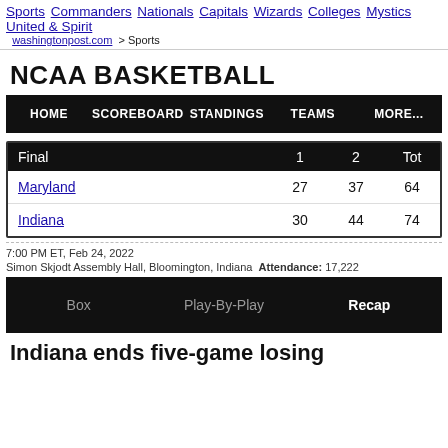Sports Commanders Nationals Capitals Wizards Colleges Mystics United & Spirit
washingtonpost.com > Sports
NCAA BASKETBALL
| Final | 1 | 2 | Tot |
| --- | --- | --- | --- |
| Maryland | 27 | 37 | 64 |
| Indiana | 30 | 44 | 74 |
7:00 PM ET, Feb 24, 2022
Simon Skjodt Assembly Hall, Bloomington, Indiana  Attendance: 17,222
Box   Play-By-Play   Recap
Indiana ends five-game losing